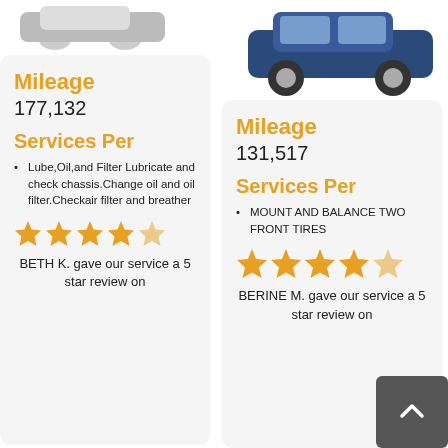[Figure (photo): Partial view of a vehicle (left side) at top left]
[Figure (photo): Blue SUV/Honda Pilot at top right]
Mileage
177,132
Services Per
Lube,Oil,and Filter Lubricate and check chassis.Change oil and oil filter.Checkair filter and breather
[Figure (other): 5 gold stars rating]
BETH K. gave our service a 5 star review on
Mileage
131,517
Services Per
MOUNT AND BALANCE TWO FRONT TIRES
[Figure (other): 4.5 gold stars rating]
BERINE M. gave our service a 5 star review on